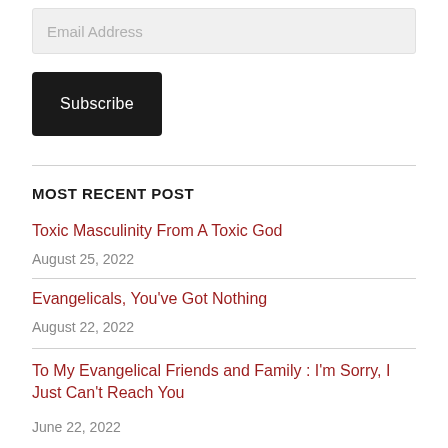Email Address
Subscribe
MOST RECENT POST
Toxic Masculinity From A Toxic God
August 25, 2022
Evangelicals, You've Got Nothing
August 22, 2022
To My Evangelical Friends and Family : I'm Sorry, I Just Can't Reach You
June 22, 2022